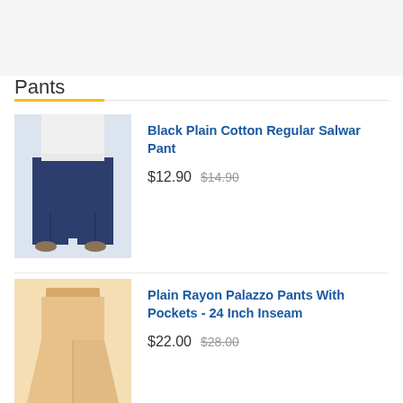Pants
Black Plain Cotton Regular Salwar Pant
$12.90  $14.90
Plain Rayon Palazzo Pants With Pockets - 24 Inch Inseam
$22.00  $28.00
Military Green Plain Cotton Regular Salwar